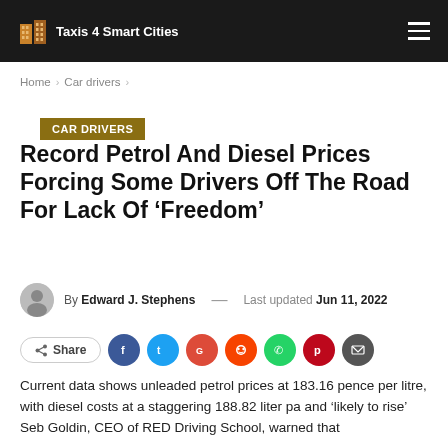Taxis 4 Smart Cities
Home > Car drivers >
CAR DRIVERS
Record Petrol And Diesel Prices Forcing Some Drivers Off The Road For Lack Of ‘Freedom’
By Edward J. Stephens — Last updated Jun 11, 2022
Share (social buttons: Facebook, Twitter, Google+, Reddit, WhatsApp, Pinterest, Email)
Current data shows unleaded petrol prices at 183.16 pence per litre, with diesel costs at a staggering 188.82 liter pa and ‘likely to rise’ Seb Goldin, CEO of RED Driving School, warned that